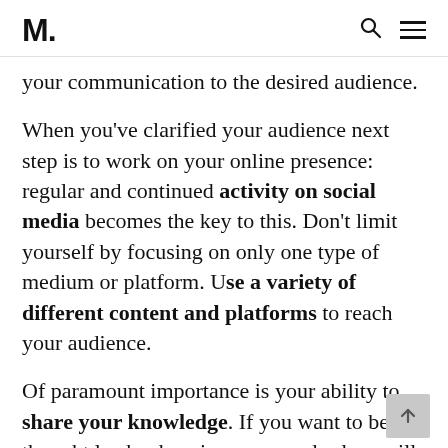M.
your communication to the desired audience.
When you’ve clarified your audience next step is to work on your online presence: regular and continued activity on social media becomes the key to this. Don’t limit yourself by focusing on only one type of medium or platform. Use a variety of different content and platforms to reach your audience.
Of paramount importance is your ability to share your knowledge. If you want to be a thought leader, keeping your cards close will